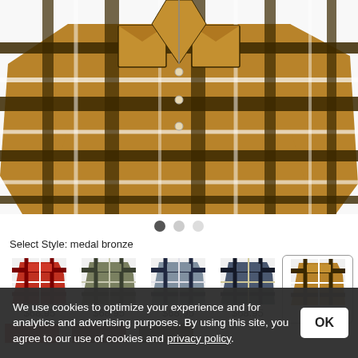[Figure (photo): Main product photo of a brown/tan plaid flannel shirt with black and white stripes, shown flat lay with two chest pockets]
● ○ ○
Select Style: medal bronze
[Figure (photo): Thumbnail of red plaid flannel shirt, $68.95]
[Figure (photo): Thumbnail of green plaid flannel shirt, $68.95]
[Figure (photo): Thumbnail of navy/grey plaid flannel shirt, $68.95]
[Figure (photo): Thumbnail of dark navy plaid flannel shirt, $68.95]
[Figure (photo): Thumbnail of brown/bronze plaid flannel shirt (selected), $68.95]
We use cookies to optimize your experience and for analytics and advertising purposes. By using this site, you agree to our use of cookies and privacy policy.